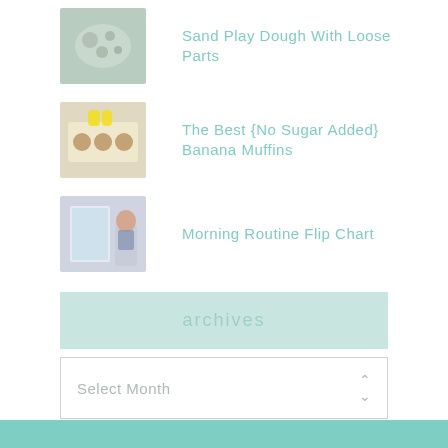Sand Play Dough With Loose Parts
The Best {No Sugar Added} Banana Muffins
Morning Routine Flip Chart
archives
Select Month